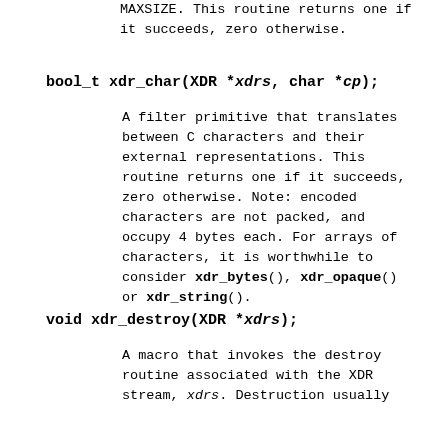MAXSIZE. This routine returns one if it succeeds, zero otherwise.
bool_t xdr_char(XDR *xdrs, char *cp);
A filter primitive that translates between C characters and their external representations. This routine returns one if it succeeds, zero otherwise. Note: encoded characters are not packed, and occupy 4 bytes each. For arrays of characters, it is worthwhile to consider xdr_bytes(), xdr_opaque() or xdr_string().
void xdr_destroy(XDR *xdrs);
A macro that invokes the destroy routine associated with the XDR stream, xdrs. Destruction usually